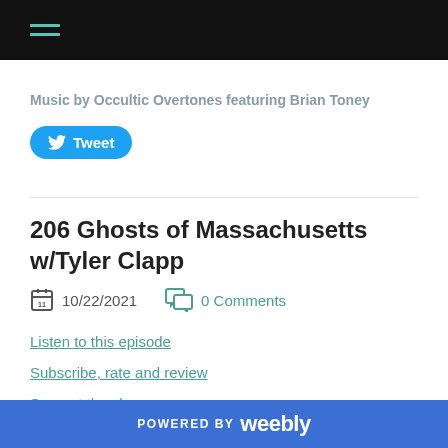Navigation bar with hamburger menu
Music by Occultic Overtones featuring Brian Toney
[Figure (other): Twitter Tweet button]
206 Ghosts of Massachusetts w/Tyler Clapp
10/22/2021  0 Comments
Listen to this episode
Subscribe, rate and review
Support the show
POWERED BY weebly